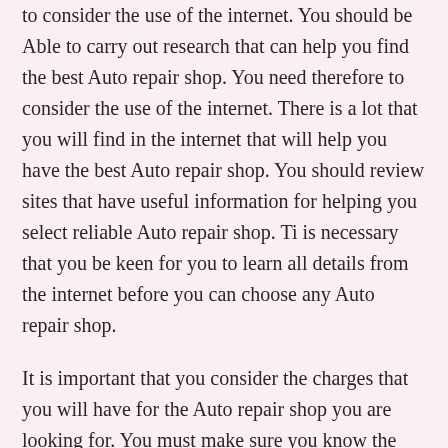to consider the use of the internet. You should be Able to carry out research that can help you find the best Auto repair shop. You need therefore to consider the use of the internet. There is a lot that you will find in the internet that will help you have the best Auto repair shop. You should review sites that have useful information for helping you select reliable Auto repair shop. Ti is necessary that you be keen for you to learn all details from the internet before you can choose any Auto repair shop.
It is important that you consider the charges that you will have for the Auto repair shop you are looking for. You must make sure you know the amount you can spend on the Auto repair shop. It is vital that you get the range for the cost of the Auto repair shop that you want to work with. This will help you to know the affordable Auto repair shop. You should take time to budget well to ensure you can have all what is required